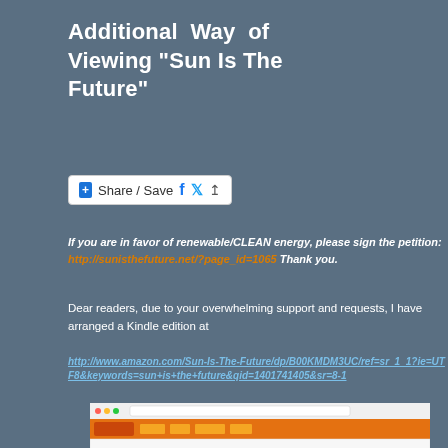Additional Way of Viewing “Sun Is The Future”
[Figure (other): Share / Save social sharing button with Facebook, Twitter, and upload icons]
If you are in favor of renewable/CLEAN energy, please sign the petition: http://sunisthefuture.net/?page_id=1065 Thank you.
Dear readers, due to your overwhelming support and requests, I have arranged a Kindle edition at
http://www.amazon.com/Sun-Is-The-Future/dp/B00KMDM3UC/ref=sr_1_1?ie=UTF8&keywords=sun+is+the+future&qid=1401741405&sr=8-1
[Figure (screenshot): Screenshot of an Amazon product page showing Sun Is The Future book listing with product image, description, reviews, and a PowerBar 30% off advertisement]